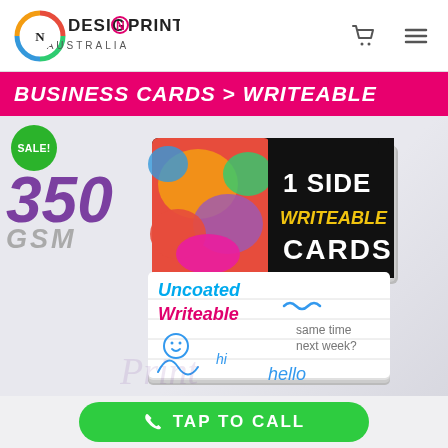[Figure (logo): DesignNPrint Australia logo with colorful circular design]
BUSINESS CARDS > WRITEABLE
[Figure (photo): Two stacks of business cards: top stack has colorful ink splash design with '1 SIDE WRITEABLE CARDS' text; bottom stack is uncoated writeable card with handwritten text 'Uncoated Writeable', 'same time next week?', 'hi', 'hello']
SALE!
350 GSM
TAP TO CALL